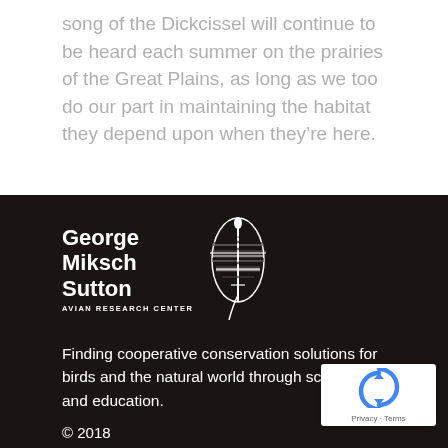song of the Dickcissel will continue to be heard each summer on the prairies of the Great Plains, as long as we too do our part in maintaining the habitat they depend upon when they’re here.
[Figure (logo): George Miksch Sutton Avian Research Center logo — white text with feather illustration on dark background]
Finding cooperative conservation solutions for birds and the natural world through science and education.
© 2018